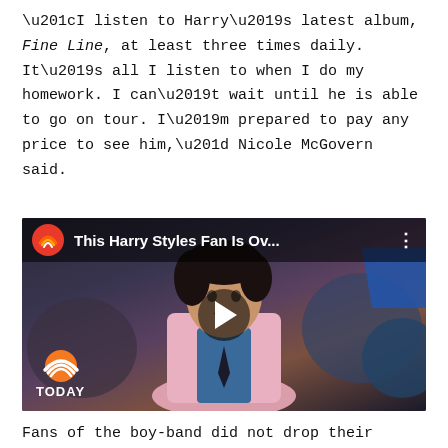“I listen to Harry’s latest album, Fine Line, at least three times daily. It’s all I listen to when I do my homework. I can’t wait until he is able to go on tour. I’m prepared to pay any price to see him,” Nicole McGovern said.
[Figure (screenshot): Embedded YouTube video thumbnail showing Harry Styles in a pink jacket and blue shirt, with a crowd in the background. The TODAY show logo and the title 'This Harry Styles Fan Is Ov...' are visible in a dark overlay bar at the top. A play button is centered on the video. The TODAY logo appears at the bottom left.]
Fans of the boy-band did not drop their